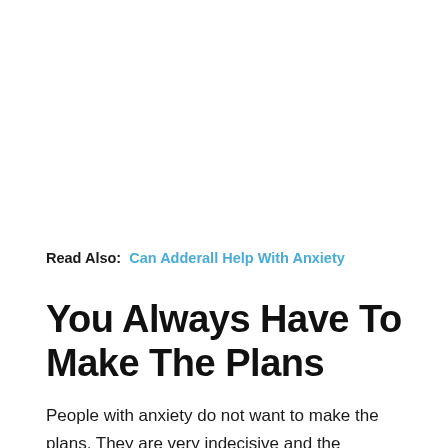Read Also:  Can Adderall Help With Anxiety
You Always Have To Make The Plans
People with anxiety do not want to make the plans. They are very indecisive and the smallest of choices, such as which